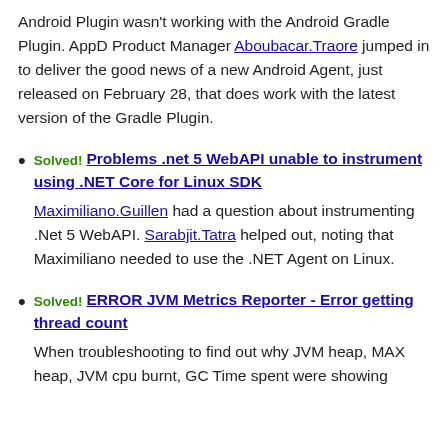Android Plugin wasn't working with the Android Gradle Plugin. AppD Product Manager Aboubacar.Traore jumped in to deliver the good news of a new Android Agent, just released on February 28, that does work with the latest version of the Gradle Plugin.
Solved! Problems .net 5 WebAPI unable to instrument using .NET Core for Linux SDK — Maximiliano.Guillen had a question about instrumenting .Net 5 WebAPI. Sarabjit.Tatra helped out, noting that Maximiliano needed to use the .NET Agent on Linux.
Solved! ERROR JVM Metrics Reporter - Error getting thread count — When troubleshooting to find out why JVM heap, MAX heap, JVM cpu burnt, GC Time spent were showing...